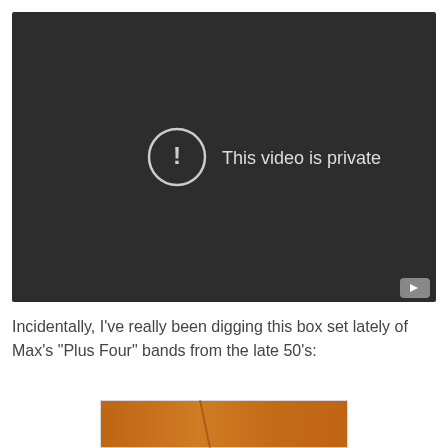[Figure (screenshot): A dark video player showing a private video message. The player has a dark charcoal background with a circle-exclamation icon and the text 'This video is private' centered in the upper-middle area. A YouTube logo button appears in the bottom-right corner.]
Incidentally, I've really been digging this box set lately of Max's "Plus Four" bands from the late 50's:
[Figure (photo): Partial view of what appears to be a wooden surface with warm orange-brown tones, likely a CD/album box set cover.]